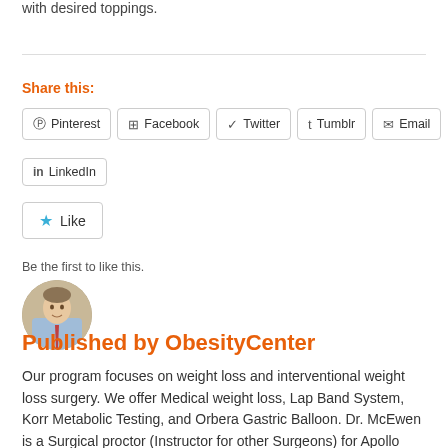with desired toppings.
Share this:
Pinterest  Facebook  Twitter  Tumblr  Email  LinkedIn
Like
Be the first to like this.
[Figure (photo): Circular avatar photo of a man in a light blue shirt and red tie]
Published by ObesityCenter
Our program focuses on weight loss and interventional weight loss surgery. We offer Medical weight loss, Lap Band System, Korr Metabolic Testing, and Orbera Gastric Balloon. Dr. McEwen is a Surgical proctor (Instructor for other Surgeons) for Apollo